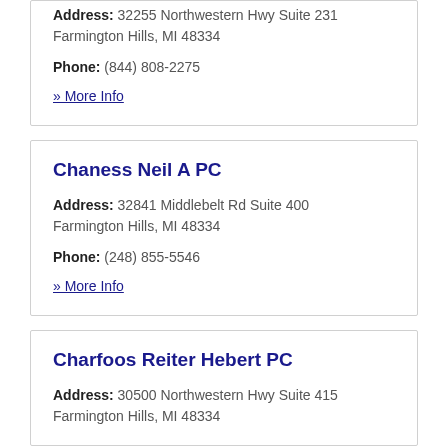Address: 32255 Northwestern Hwy Suite 231 Farmington Hills, MI 48334
Phone: (844) 808-2275
» More Info
Chaness Neil A PC
Address: 32841 Middlebelt Rd Suite 400 Farmington Hills, MI 48334
Phone: (248) 855-5546
» More Info
Charfoos Reiter Hebert PC
Address: 30500 Northwestern Hwy Suite 415 Farmington Hills, MI 48334